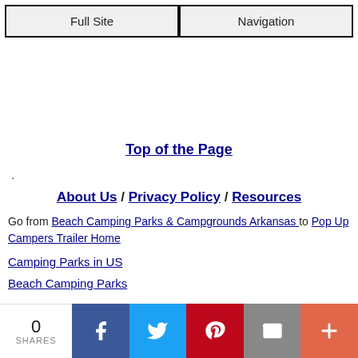Full Site / Navigation
Top of the Page
.
About Us / Privacy Policy / Resources
Go from Beach Camping Parks & Campgrounds Arkansas to Pop Up Campers Trailer Home
Camping Parks in US
Beach Camping Parks
0 SHARES | Facebook | Twitter | Pinterest | Email | More